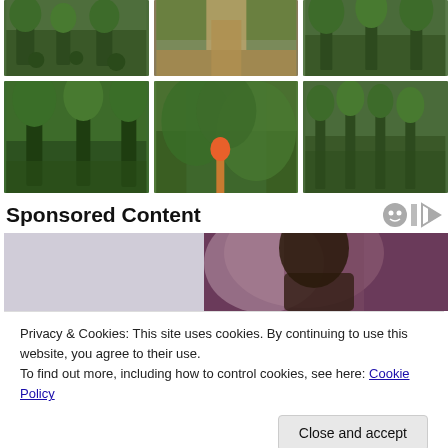[Figure (photo): Row of three photos showing tropical plant nursery and garden paths with potted trees and vegetation]
[Figure (photo): Row of three photos showing tropical plantation scenes with tall trees, dense foliage and orchard rows]
Sponsored Content
[Figure (photo): Sponsored content photo of a woman with curly hair looking down, purple curtain background]
Privacy & Cookies: This site uses cookies. By continuing to use this website, you agree to their use.
To find out more, including how to control cookies, see here: Cookie Policy
[Figure (photo): Bottom strip showing a person in blue clothing]